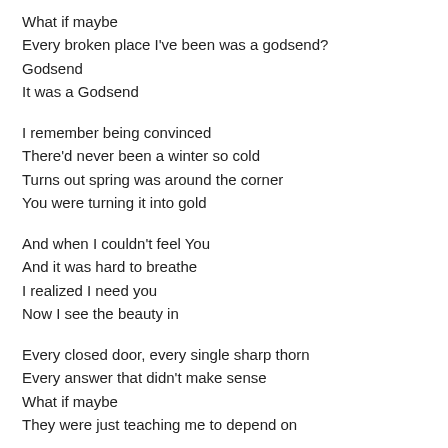What if maybe
Every broken place I've been was a godsend?
Godsend
It was a Godsend
I remember being convinced
There'd never been a winter so cold
Turns out spring was around the corner
You were turning it into gold
And when I couldn't feel You
And it was hard to breathe
I realized I need you
Now I see the beauty in
Every closed door, every single sharp thorn
Every answer that didn't make sense
What if maybe
They were just teaching me to depend on